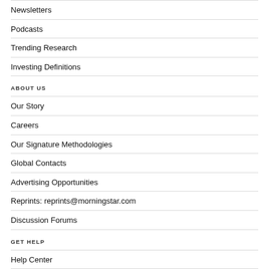Newsletters
Podcasts
Trending Research
Investing Definitions
ABOUT US
Our Story
Careers
Our Signature Methodologies
Global Contacts
Advertising Opportunities
Reprints: reprints@morningstar.com
Discussion Forums
GET HELP
Help Center
Discussion Forums
Advertising Opportunities